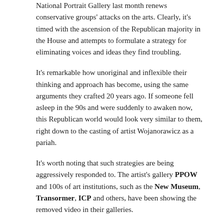National Portrait Gallery last month renews conservative groups' attacks on the arts. Clearly, it's timed with the ascension of the Republican majority in the House and attempts to formulate a strategy for eliminating voices and ideas they find troubling.
It's remarkable how unoriginal and inflexible their thinking and approach has become, using the same arguments they crafted 20 years ago. If someone fell asleep in the 90s and were suddenly to awaken now, this Republican world would look very similar to them, right down to the casting of artist Wojanorawicz as a pariah.
It's worth noting that such strategies are being aggressively responded to. The artist's gallery PPOW and 100s of art institutions, such as the New Museum, Transormer, ICP and others, have been showing the removed video in their galleries.